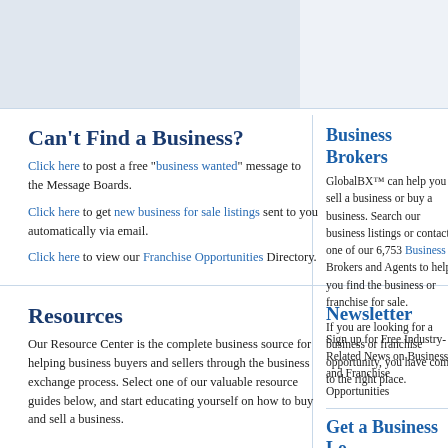[Figure (illustration): Top banner area with a light gray/blue box placeholder image on the left]
Can't Find a Business?
Click here to post a free "business wanted" message to the Message Boards.
Click here to get new business for sale listings sent to you automatically via email.
Click here to view our Franchise Opportunities Directory.
Business Brokers
GlobalBX™ can help you sell a business or buy a business. Search our business listings or contact one of our 6,753 Business Brokers and Agents to help you find the business or franchise for sale.
If you are looking for a business or franchise opportunity, you have come to the right place.
Resources
Our Resource Center is the complete business source for helping business buyers and sellers through the business exchange process. Select one of our valuable resource guides below, and start educating yourself on how to buy and sell a business.
Newsletter
Sign up for Free Industry-Related News on Business and Franchise Opportunities
Get a Business Lo